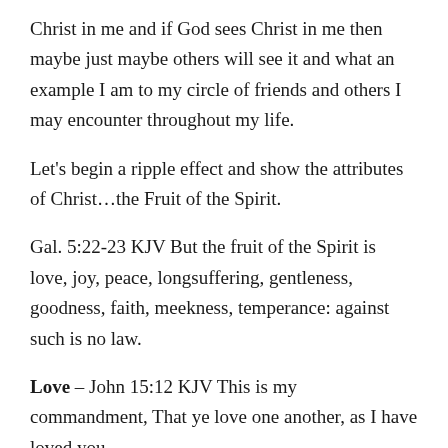Christ in me and if God sees Christ in me then maybe just maybe others will see it and what an example I am to my circle of friends and others I may encounter throughout my life.
Let's begin a ripple effect and show the attributes of Christ…the Fruit of the Spirit.
Gal. 5:22-23 KJV But the fruit of the Spirit is love, joy, peace, longsuffering, gentleness, goodness, faith, meekness, temperance: against such is no law.
Love – John 15:12 KJV This is my commandment, That ye love one another, as I have loved you.
Joy – John 15: 11 KJV These things have I spoken unto you, that my joy might remain in you, and that your joy